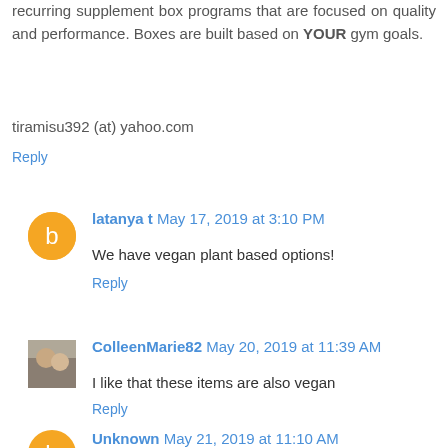recurring supplement box programs that are focused on quality and performance. Boxes are built based on YOUR gym goals.
tiramisu392 (at) yahoo.com
Reply
latanya t  May 17, 2019 at 3:10 PM
We have vegan plant based options!
Reply
ColleenMarie82  May 20, 2019 at 11:39 AM
I like that these items are also vegan
Reply
Unknown  May 21, 2019 at 11:10 AM
I like that you can build your own box